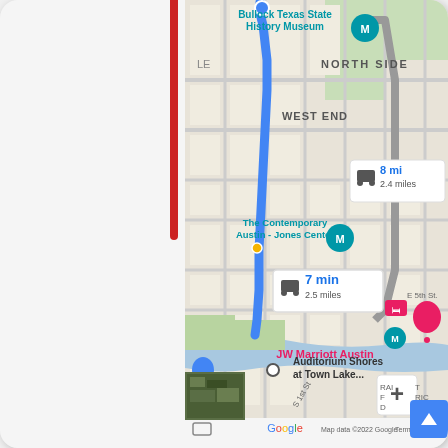[Figure (map): Google Maps screenshot showing a driving route in Austin, Texas. A blue route line runs from Bullock Texas State History Museum in the north down through West End and North Side neighborhoods to Auditorium Shores at Town Lake. Labels visible include: Bullock Texas State History Museum, NORTH SIDE, WEST END, The Contemporary Austin - Jones Center, JW Marriott Austin, Auditorium Shores at Town Lake, E 5th St. Two route duration/distance callouts are shown: '8 min / 2.4 miles' and '7 min / 2.5 miles'. Zoom controls (+/-) are shown in the bottom right. Google logo and 'Map data ©2022 Google Terms of Use' appear at the bottom. A satellite map thumbnail appears in the bottom left corner. A blue scroll-to-top button appears at bottom right.]